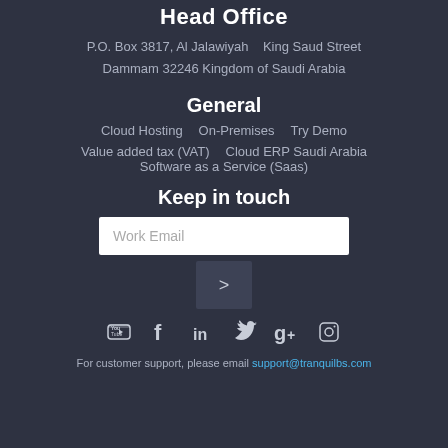Head Office
P.O. Box 3817, Al Jalawiyah   King Saud Street
Dammam 32246 Kingdom of Saudi Arabia
General
Cloud Hosting   On-Premises   Try Demo
Value added tax (VAT)   Cloud ERP Saudi Arabia
Software as a Service (Saas)
Keep in touch
Work Email
>
[Figure (infographic): Social media icons: YouTube, Facebook, LinkedIn, Twitter, Google+, Instagram]
For customer support,  please email support@tranquilbs.com